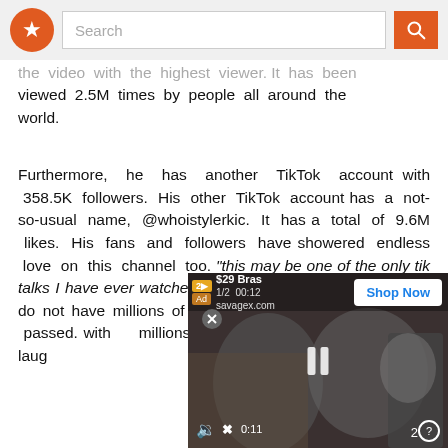Search
the video with the highest viewer. It has been viewed 2.5M times by people all around the world.
Furthermore, he has another TikTok account with 358.5K followers. His other TikTok account has a not-so-usual name, @whoistylerkic. It has a total of 9.6M likes. His fans and followers have showered endless love on this channel too. "this may be one of the only tik talks I have ever watched where I h to hold my tears in" do not have millions of vi one as he has re recently passed. with millions ib"@flightsnutsinc @irene.ruby I laug
[Figure (screenshot): Video advertisement overlay showing $29 Bras from savagex.com with Shop Now button, paused video player with mute icon and 0:11 timestamp]